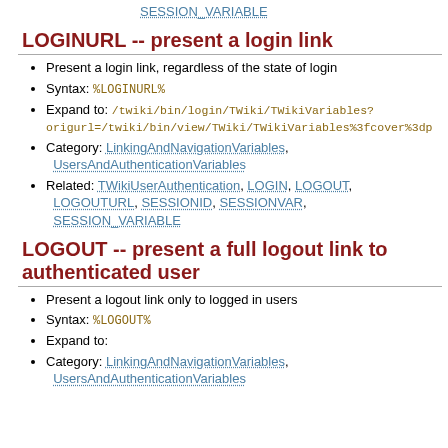SESSION_VARIABLE
LOGINURL -- present a login link
Present a login link, regardless of the state of login
Syntax: %LOGINURL%
Expand to: /twiki/bin/login/TWiki/TWikiVariables?origurl=/twiki/bin/view/TWiki/TWikiVariables%3fcover%3dp
Category: LinkingAndNavigationVariables, UsersAndAuthenticationVariables
Related: TWikiUserAuthentication, LOGIN, LOGOUT, LOGOUTURL, SESSIONID, SESSIONVAR, SESSION_VARIABLE
LOGOUT -- present a full logout link to authenticated user
Present a logout link only to logged in users
Syntax: %LOGOUT%
Expand to:
Category: LinkingAndNavigationVariables, UsersAndAuthenticationVariables